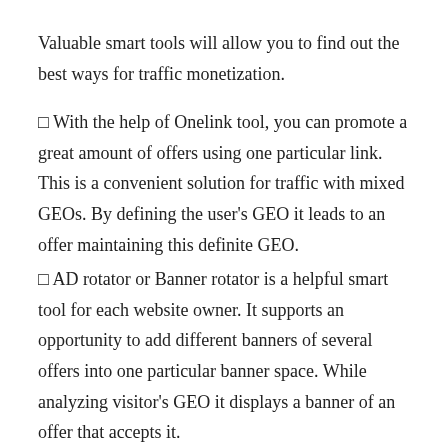Valuable smart tools will allow you to find out the best ways for traffic monetization.
◻ With the help of Onelink tool, you can promote a great amount of offers using one particular link. This is a convenient solution for traffic with mixed GEOs. By defining the user's GEO it leads to an offer maintaining this definite GEO.
◻ AD rotator or Banner rotator is a helpful smart tool for each website owner. It supports an opportunity to add different banners of several offers into one particular banner space. While analyzing visitor's GEO it displays a banner of an offer that accepts it.
Your affiliate manager will help to set everything up and